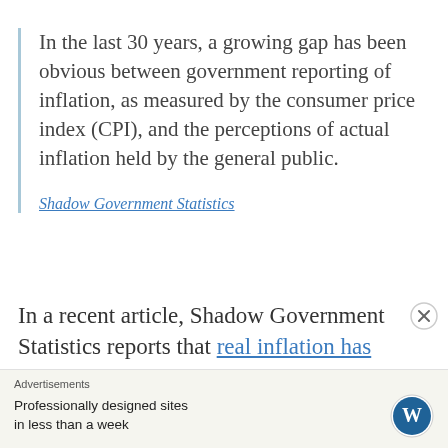In the last 30 years, a growing gap has been obvious between government reporting of inflation, as measured by the consumer price index (CPI), and the perceptions of actual inflation held by the general public.
Shadow Government Statistics
In a recent article, Shadow Government Statistics reports that real inflation has reached
Advertisements
Professionally designed sites in less than a week